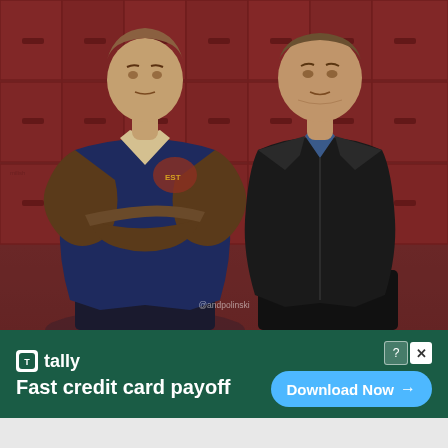[Figure (photo): Two men standing in front of red school lockers. The man on the left is younger, wearing a varsity jacket with arms crossed. The man on the right is older, wearing a black jacket and blue shirt. A small watermark '@andpolinski' is visible near the bottom center.]
[Figure (infographic): Tally app advertisement banner on dark green background. Shows Tally logo with white icon, tagline 'Fast credit card payoff', and 'Download Now' button with arrow on right side. Close/question mark icons in top right.]